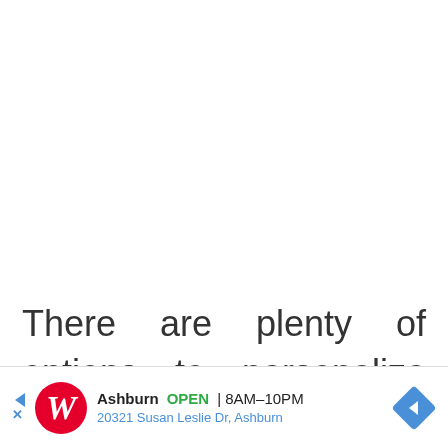There are plenty of options to personalize this room with décor and color. A rug in the middle of the floor will look great. One or two side
[Figure (other): Advertisement banner for Walgreens. Shows Walgreens logo (cursive W), store info: Ashburn OPEN 8AM–10PM, 20321 Susan Leslie Dr, Ashburn. Navigation arrow diamond icon on right.]